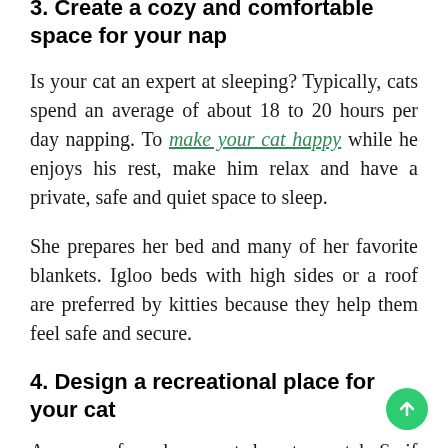3. Create a cozy and comfortable space for your nap
Is your cat an expert at sleeping? Typically, cats spend an average of about 18 to 20 hours per day napping. To make your cat happy while he enjoys his rest, make him relax and have a private, safe and quiet space to sleep.
She prepares her bed and many of her favorite blankets. Igloo beds with high sides or a roof are preferred by kitties because they help them feel safe and secure.
4. Design a recreational place for your cat
As many of you know, cats love to scratch. So if